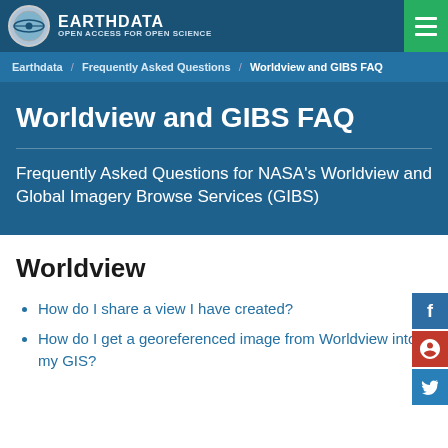EARTHDATA — OPEN ACCESS FOR OPEN SCIENCE
Earthdata / Frequently Asked Questions / Worldview and GIBS FAQ
Worldview and GIBS FAQ
Frequently Asked Questions for NASA's Worldview and Global Imagery Browse Services (GIBS)
Worldview
How do I share a view I have created?
How do I get a georeferenced image from Worldview into my GIS?